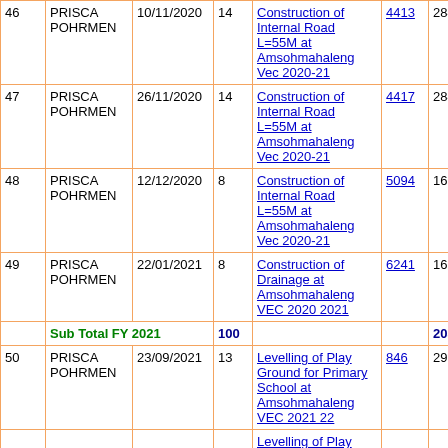| # | Name | Date | % | Work Description | Ref | Amount | 0 |
| --- | --- | --- | --- | --- | --- | --- | --- |
| 46 | PRISCA POHRMEN | 10/11/2020 | 14 | Construction of Internal Road L=55M at Amsohmahaleng Vec 2020-21 | 4413 | 2842 | 0 |
| 47 | PRISCA POHRMEN | 26/11/2020 | 14 | Construction of Internal Road L=55M at Amsohmahaleng Vec 2020-21 | 4417 | 2842 | 0 |
| 48 | PRISCA POHRMEN | 12/12/2020 | 8 | Construction of Internal Road L=55M at Amsohmahaleng Vec 2020-21 | 5094 | 1624 | 0 |
| 49 | PRISCA POHRMEN | 22/01/2021 | 8 | Construction of Drainage at Amsohmahaleng VEC 2020 2021 | 6241 | 1624 | 0 |
|  | Sub Total FY 2021 |  | 100 |  |  | 20300 | 0 |
| 50 | PRISCA POHRMEN | 23/09/2021 | 13 | Levelling of Play Ground for Primary School at Amsohmahaleng VEC 2021 22 | 846 | 2938 | 0 |
|  |  |  |  | Levelling of Play Ground for |  |  |  |